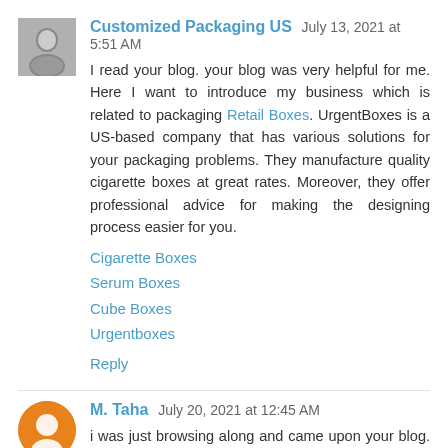Customized Packaging US July 13, 2021 at 5:51 AM
I read your blog. your blog was very helpful for me. Here I want to introduce my business which is related to packaging Retail Boxes. UrgentBoxes is a US-based company that has various solutions for your packaging problems. They manufacture quality cigarette boxes at great rates. Moreover, they offer professional advice for making the designing process easier for you.
Cigarette Boxes
Serum Boxes
Cube Boxes
Urgentboxes
Reply
M. Taha July 20, 2021 at 12:45 AM
i was just browsing along and came upon your blog. just wanted to say good blog and this article really helped me.
website